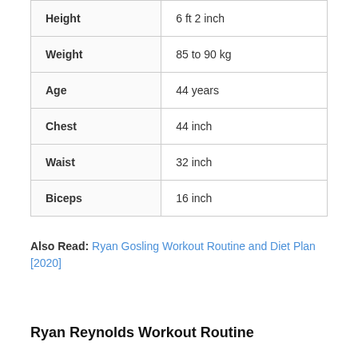|  |  |
| --- | --- |
| Height | 6 ft 2 inch |
| Weight | 85 to 90 kg |
| Age | 44 years |
| Chest | 44 inch |
| Waist | 32 inch |
| Biceps | 16 inch |
Also Read: Ryan Gosling Workout Routine and Diet Plan [2020]
Ryan Reynolds Workout Routine